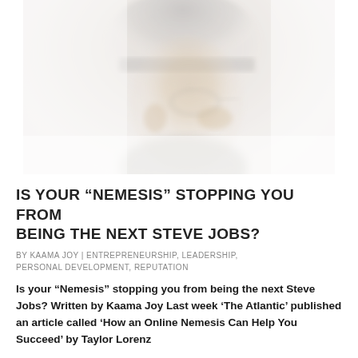[Figure (photo): A faded, double-exposure style photo of a man in profile wearing glasses and a hat, looking downward, with a soft white and gray background creating an artistic blur effect.]
IS YOUR “NEMESIS” STOPPING YOU FROM BEING THE NEXT STEVE JOBS?
BY KAAMA JOY | ENTREPRENEURSHIP, LEADERSHIP, PERSONAL DEVELOPMENT, REPUTATION
Is your “Nemesis” stopping you from being the next Steve Jobs? Written by Kaama Joy Last week ‘The Atlantic’ published an article called ‘How an Online Nemesis Can Help You Succeed’ by Taylor Lorenz